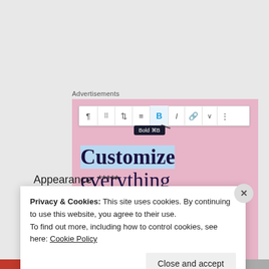Advertisements
[Figure (screenshot): WordPress block editor screenshot showing a toolbar with Bold (B) button highlighted and tooltip 'Bold ⌘B', over a pink advertisement block with text: 'Customize everything on your site with the new Site Editor.']
Appearance: *****
Privacy & Cookies: This site uses cookies. By continuing to use this website, you agree to their use.
To find out more, including how to control cookies, see here: Cookie Policy
Close and accept